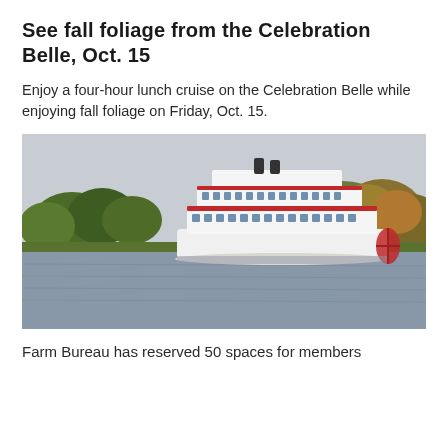See fall foliage from the Celebration Belle, Oct. 15
Enjoy a four-hour lunch cruise on the Celebration Belle while enjoying fall foliage on Friday, Oct. 15.
[Figure (photo): A large white multi-deck riverboat (Celebration Belle) on a calm river with autumn-colored trees lining the bank in the background and an overcast sky above.]
Farm Bureau has reserved 50 spaces for members